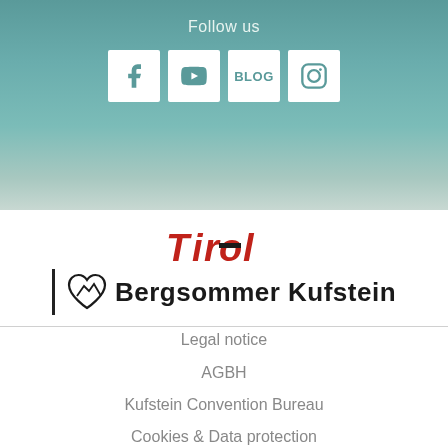Follow us
[Figure (infographic): Four social media icon boxes: Facebook (f), YouTube, BLOG, Instagram]
[Figure (logo): Tirol logo in red with Bergsommer Kufstein text and mountain heart icon]
Legal notice
AGBH
Kufstein Convention Bureau
Cookies & Data protection